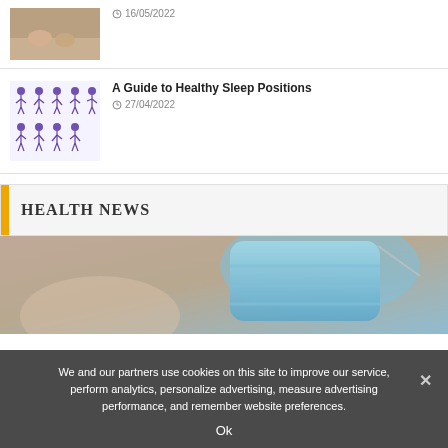[Figure (photo): Thumbnail photo of feet/hands on a mat, top article]
16/05/2022
[Figure (illustration): Grid of illustrated sleep position figures in purple/blue]
A Guide to Healthy Sleep Positions
27/04/2022
HEALTH NEWS
[Figure (photo): Large photo of a blue surgical face mask being held]
We and our partners use cookies on this site to improve our service, perform analytics, personalize advertising, measure advertising performance, and remember website preferences.
Ok